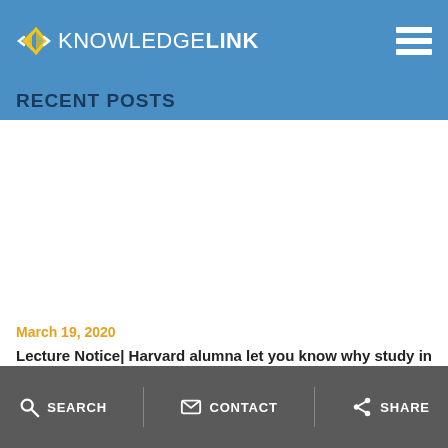KNOWLEDGELINK
RECENT POSTS
March 19, 2020
Lecture Notice| Harvard alumna let you know why study in ivy school make difference
SEARCH   CONTACT   SHARE